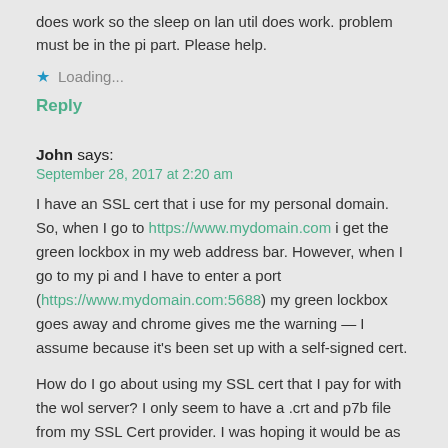does work so the sleep on lan util does work. problem must be in the pi part. Please help.
★ Loading...
Reply
John says:
September 28, 2017 at 2:20 am
I have an SSL cert that i use for my personal domain. So, when I go to https://www.mydomain.com i get the green lockbox in my web address bar. However, when I go to my pi and I have to enter a port (https://www.mydomain.com:5688) my green lockbox goes away and chrome gives me the warning — I assume because it's been set up with a self-signed cert.
How do I go about using my SSL cert that I pay for with the wol server? I only seem to have a .crt and p7b file from my SSL Cert provider. I was hoping it would be as easy as swapping out the wol.csr, wol.key, and wol.crt files, but that doesnt' seem to be the case.